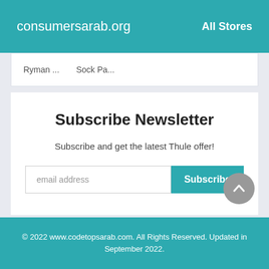consumersarab.org   All Stores
Ryman ...   Sock Pa...
Subscribe Newsletter
Subscribe and get the latest Thule offer!
email address  [Subscribe button]
© 2022 www.codetopsarab.com. All Rights Reserved. Updated in September 2022.